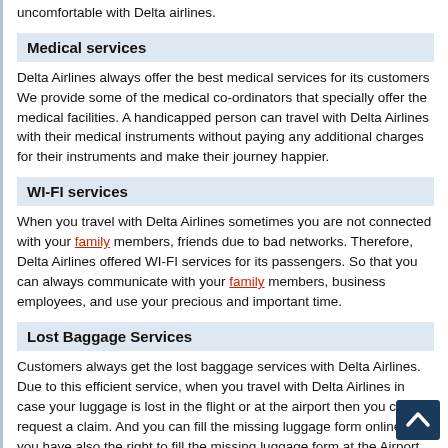uncomfortable with Delta airlines.
Medical services
Delta Airlines always offer the best medical services for its customers We provide some of the medical co-ordinators that specially offer the medical facilities. A handicapped person can travel with Delta Airlines with their medical instruments without paying any additional charges for their instruments and make their journey happier.
WI-FI services
When you travel with Delta Airlines sometimes you are not connected with your family members, friends due to bad networks. Therefore, Delta Airlines offered WI-FI services for its passengers. So that you can always communicate with your family members, business employees, and use your precious and important time.
Lost Baggage Services
Customers always get the lost baggage services with Delta Airlines. Due to this efficient service, when you travel with Delta Airlines in case your luggage is lost in the flight or at the airport then you can request a claim. And you can fill the missing luggage form online. And you have also the right to fill the missing luggage form at the Airport. After this procedure, you will get your luggage within 24hours at your address.